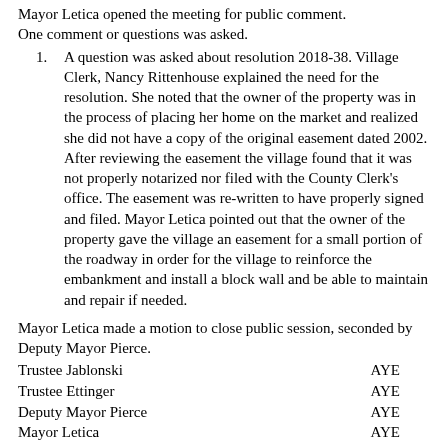Mayor Letica opened the meeting for public comment. One comment or questions was asked.
A question was asked about resolution 2018-38. Village Clerk, Nancy Rittenhouse explained the need for the resolution. She noted that the owner of the property was in the process of placing her home on the market and realized she did not have a copy of the original easement dated 2002. After reviewing the easement the village found that it was not properly notarized nor filed with the County Clerk's office. The easement was re-written to have properly signed and filed. Mayor Letica pointed out that the owner of the property gave the village an easement for a small portion of the roadway in order for the village to reinforce the embankment and install a block wall and be able to maintain and repair if needed.
Mayor Letica made a motion to close public session, seconded by Deputy Mayor Pierce.
Trustee Jablonski    AYE
Trustee Ettinger    AYE
Deputy Mayor Pierce    AYE
Mayor Letica    AYE
Motioned Carried.
Mayor Letica made a motion to go into Executive Session